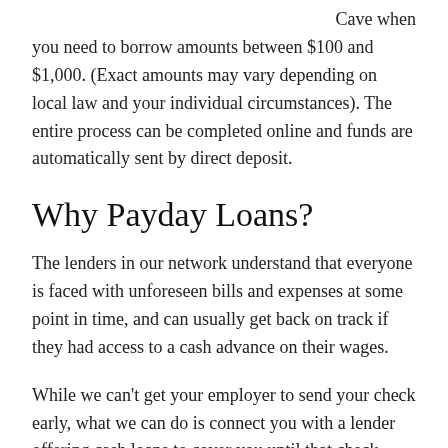Cave when you need to borrow amounts between $100 and $1,000. (Exact amounts may vary depending on local law and your individual circumstances). The entire process can be completed online and funds are automatically sent by direct deposit.
Why Payday Loans?
The lenders in our network understand that everyone is faced with unforeseen bills and expenses at some point in time, and can usually get back on track if they had access to a cash advance on their wages.
While we can't get your employer to send your check early, what we can do is connect you with a lender offering cash loans to cover you until that check arrives.
All you need to do is choose the amount you need, provide